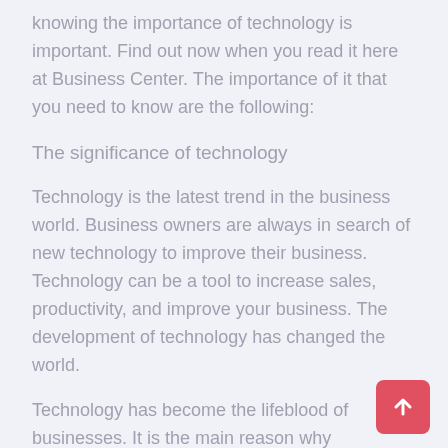knowing the importance of technology is important. Find out now when you read it here at Business Center. The importance of it that you need to know are the following:
The significance of technology
Technology is the latest trend in the business world. Business owners are always in search of new technology to improve their business. Technology can be a tool to increase sales, productivity, and improve your business. The development of technology has changed the world.
Technology has become the lifeblood of businesses. It is the main reason why businesses are growing. Business owners are now using technology to help them run their business. It includes their employees, their suppliers, their